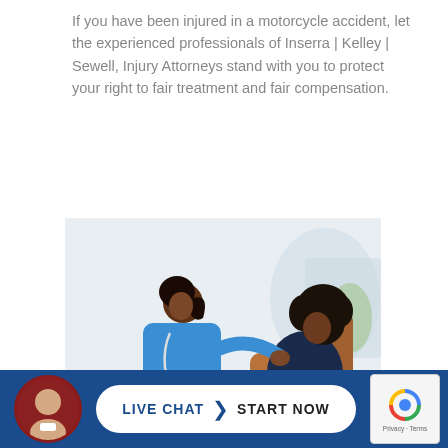If you have been injured in a motorcycle accident, let the experienced professionals of Inserra | Kelley | Sewell, Injury Attorneys stand with you to protect your right to fair treatment and fair compensation.
[Figure (photo): A nurse in blue scrubs with a stethoscope placing a comforting hand on the shoulder of a female patient who is seated and holding her abdomen in pain]
[Figure (other): Live Chat call-to-action bar with attorney avatar, LIVE CHAT | START NOW button, and reCAPTCHA badge]